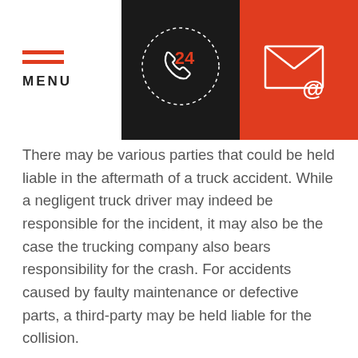[Figure (infographic): Website header with three sections: left white section with hamburger menu icon and MENU text, center black section with 24-hour phone icon, right orange section with email envelope icon]
There may be various parties that could be held liable in the aftermath of a truck accident. While a negligent truck driver may indeed be responsible for the incident, it may also be the case the trucking company also bears responsibility for the crash. For accidents caused by faulty maintenance or defective parts, a third-party may be held liable for the collision.
At Cannon Law, we will thoroughly investigate your case in order to secure any compensation you are entitled to. This can include coverage of all medical bills, lost income you incur, pain